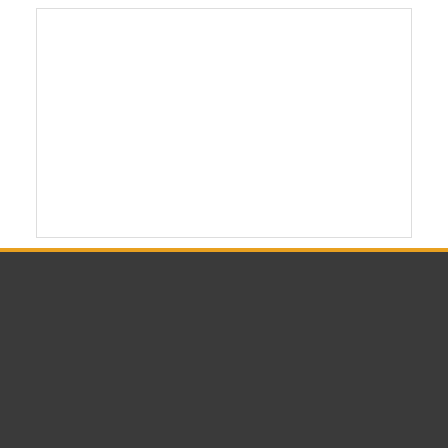[Figure (screenshot): White content box with border on white background (top section of webpage)]
[Figure (screenshot): Dark grey footer section of webpage with a white horizontal bar (search/input bar) and a Twitter/X widget card showing 'Tweets from @PCDJSoftware' with a Follow button, and a tweet item from PCDJ @PCDJSoftware · Aug 20 with Twitter bird icon and notification bell button]